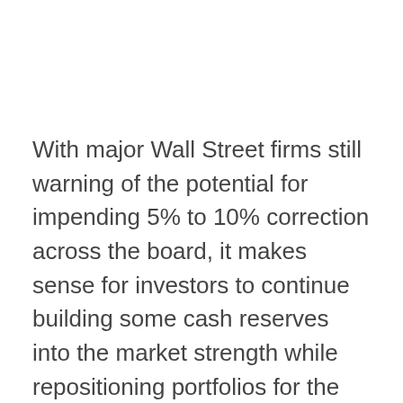With major Wall Street firms still warning of the potential for impending 5% to 10% correction across the board, it makes sense for investors to continue building some cash reserves into the market strength while repositioning portfolios for the rest of 2021.
24/7 Wall St. reviews dozens of analyst research reports each day of the week with a